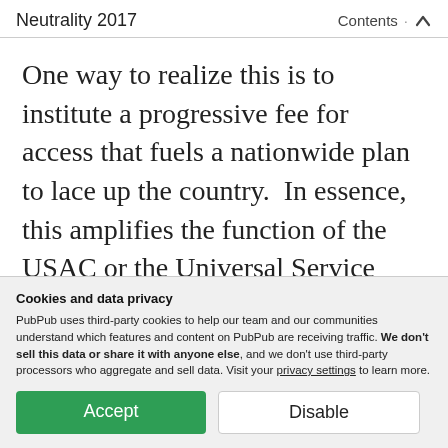Neutrality 2017   Contents  ↑
One way to realize this is to institute a progressive fee for access that fuels a nationwide plan to lace up the country.  In essence, this amplifies the function of the USAC or the Universal Service fund.  Most important, we propose that this fee be progressive    higher rate access pays a
Cookies and data privacy
PubPub uses third-party cookies to help our team and our communities understand which features and content on PubPub are receiving traffic. We don't sell this data or share it with anyone else, and we don't use third-party processors who aggregate and sell data. Visit your privacy settings to learn more.
Accept   Disable